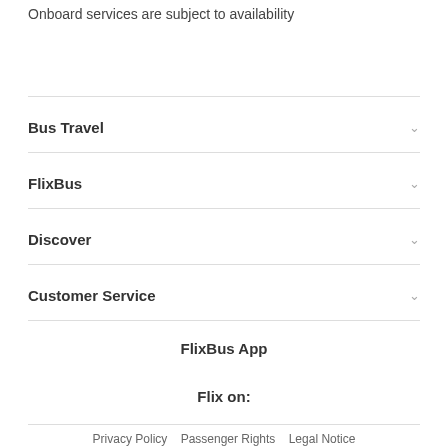Onboard services are subject to availability
Bus Travel
FlixBus
Discover
Customer Service
FlixBus App
Flix on:
Privacy Policy   Passenger Rights   Legal Notice